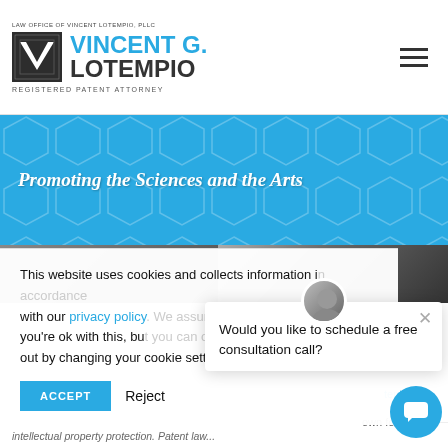LAW OFFICE OF VINCENT LOTEMPIO, PLLC — VINCENT G. LOTEMPIO — REGISTERED PATENT ATTORNEY
[Figure (screenshot): Blue banner with hexagon pattern background and italic bold white text: Promoting the Sciences and the Arts]
[Figure (photo): Partial photo strip of person/attorney, mostly obscured by cookie notice overlay]
This website uses cookies and collects information in accordance with our privacy policy. We assume you're ok with this, but you can opt out by changing your cookie settings.
ACCEPT   Reject
Would you like to schedule a free consultation call?
tent science
own forms
intellectual property protection. Patent law...